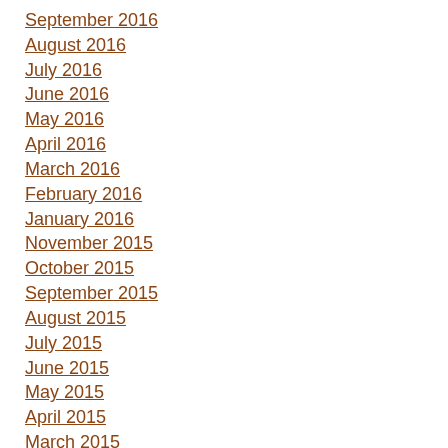September 2016
August 2016
July 2016
June 2016
May 2016
April 2016
March 2016
February 2016
January 2016
November 2015
October 2015
September 2015
August 2015
July 2015
June 2015
May 2015
April 2015
March 2015
February 2015